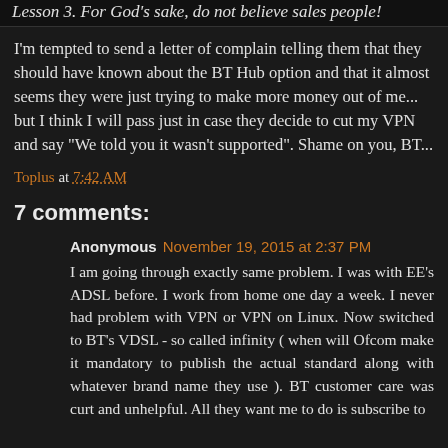Lesson 3. For God's sake, do not believe sales people!
I'm tempted to send a letter of complain telling them that they should have known about the BT Hub option and that it almost seems they were just trying to make more money out of me... but I think I will pass just in case they decide to cut my VPN and say "We told you it wasn't supported". Shame on you, BT...
Toplus at 7:42 AM
7 comments:
Anonymous November 19, 2015 at 2:37 PM
I am going through exactly same problem. I was with EE's ADSL before. I work from home one day a week. I never had problem with VPN or VPN on Linux. Now switched to BT's VDSL - so called infinity ( when will Ofcom make it mandatory to publish the actual standard along with whatever brand name they use ). BT customer care was curt and unhelpful. All they want me to do is subscribe to